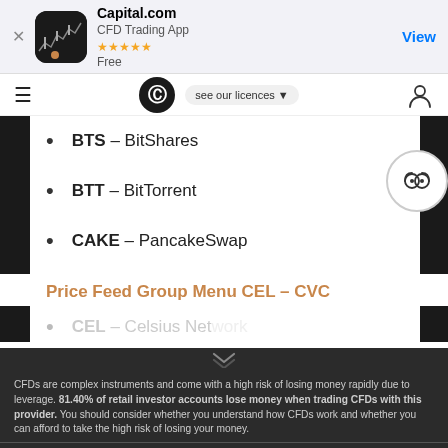[Figure (screenshot): Capital.com app store banner with icon, CFD Trading App subtitle, 5-star rating, Free label, and View button]
[Figure (screenshot): Navigation bar with hamburger menu, Capital.com C logo, 'see our licences' dropdown, and user/account icon]
BTS – BitShares
BTT – BitTorrent
CAKE – PancakeSwap
Price Feed Group Menu CEL – CVC
CEL – Celsius Network (partial, cut off)
CFDs are complex instruments and come with a high risk of losing money rapidly due to leverage. 81.40% of retail investor accounts lose money when trading CFDs with this provider. You should consider whether you understand how CFDs work and whether you can afford to take the high risk of losing your money.
By using the Capital.com website you agree to the use of cookies.